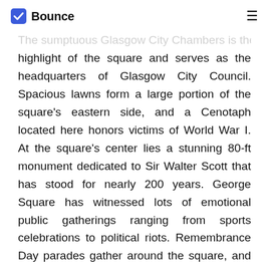Bounce
The sumptuous Glasgow City Chambers is the highlight of the square and serves as the headquarters of Glasgow City Council. Spacious lawns form a large portion of the square's eastern side, and a Cenotaph located here honors victims of World War I. At the square's center lies a stunning 80-ft monument dedicated to Sir Walter Scott that has stood for nearly 200 years. George Square has witnessed lots of emotional public gatherings ranging from sports celebrations to political riots. Remembrance Day parades gather around the square, and spontaneous events among residents sometimes occur. One of the notable events at George Square was the 1919 Battle of George Square, a pivotal era of action...